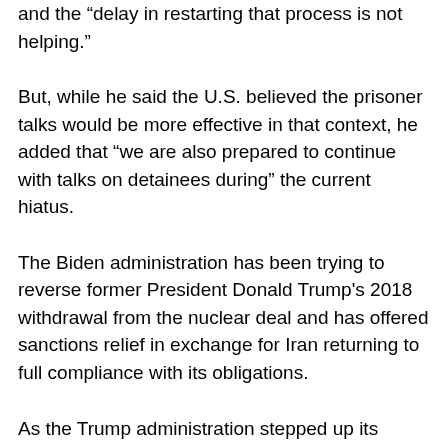and the “delay in restarting that process is not helping.”
But, while he said the U.S. believed the prisoner talks would be more effective in that context, he added that “we are also prepared to continue with talks on detainees during” the current hiatus.
The Biden administration has been trying to reverse former President Donald Trump’s 2018 withdrawal from the nuclear deal and has offered sanctions relief in exchange for Iran returning to full compliance with its obligations.
As the Trump administration stepped up its “maximum pressure” campaign against Iran by re-imposing sanctions that had lifted under the initial deal, Iran stepped up its violations of the agreement by running advanced centrifuges and increasing uranium enrichment and heavy water production. It has also refused to answer questions from the